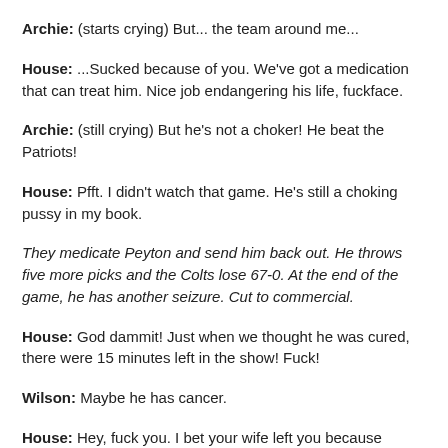Archie: (starts crying) But... the team around me...
House: ...Sucked because of you. We've got a medication that can treat him. Nice job endangering his life, fuckface.
Archie: (still crying) But he's not a choker! He beat the Patriots!
House: Pfft. I didn't watch that game. He's still a choking pussy in my book.
They medicate Peyton and send him back out. He throws five more picks and the Colts lose 67-0. At the end of the game, he has another seizure. Cut to commercial.
House: God dammit! Just when we thought he was cured, there were 15 minutes left in the show! Fuck!
Wilson: Maybe he has cancer.
House: Hey, fuck you. I bet your wife left you because you're